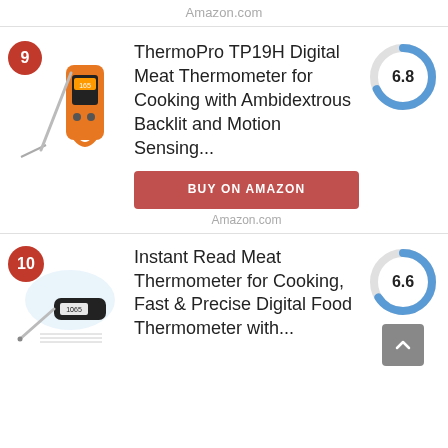Amazon.com
ThermoPro TP19H Digital Meat Thermometer for Cooking with Ambidextrous Backlit and Motion Sensing...
[Figure (donut-chart): Score 6.8]
BUY ON AMAZON
Amazon.com
Instant Read Meat Thermometer for Cooking, Fast & Precise Digital Food Thermometer with...
[Figure (donut-chart): Score 6.6]